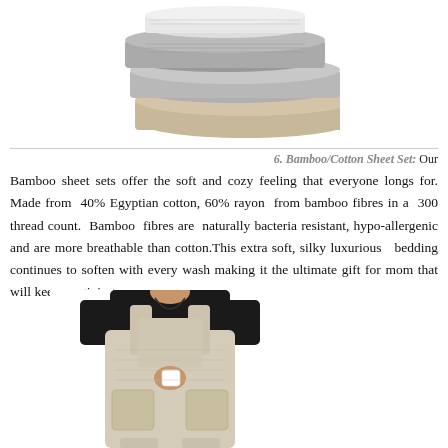[Figure (photo): Stack of folded bamboo/cotton sheet sets in grey and beige tones shown from above at an angle]
6. Bamboo/Cotton Sheet Set: Our
Bamboo sheet sets offer the soft and cozy feeling that everyone longs for. Made from 40% Egyptian cotton, 60% rayon from bamboo fibres in a 300 thread count. Bamboo fibres are naturally bacteria resistant, hypo-allergenic and are more breathable than cotton. This extra soft, silky luxurious bedding continues to soften with every wash making it the ultimate gift for mom that will keep on giving.
[Figure (photo): Woman wearing a light beige linen pinafore apron dress, holding a white cup, shown from mid-body down]